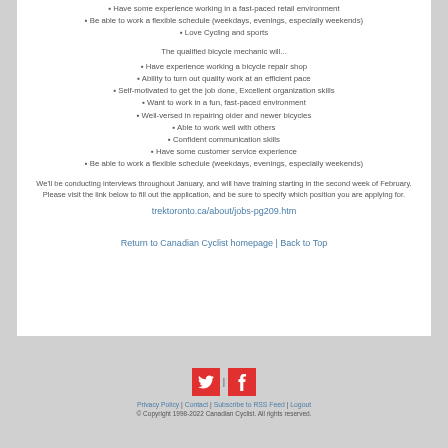Have some experience working in a fast-paced retail environment
Be able to work a flexible schedule (weekdays, evenings, especially weekends)
Love Cycling and sports
The qualified bicycle mechanic will...
Have experience working a bicycle repair shop
Ability to turn out quality work at an efficient pace
Self-motivated to get the job done, Excellent organization skills
Want to work in a fun, fast-paced environment
Well-versed in repairing older and newer bicycles
Able to work well with others
Confident communication skills
Have some customer service experience
Be able to work a flexible schedule (weekdays, evenings, especially weekends)
We'll be conducting interviews throughout January, and will have training starting in the second week of February. Please visit the link below to fill out the application, and be sure to specify which position you are applying for.
trektoronto.ca/about/jobs-pg209.htm
Return to Canadian Cyclist homepage | Back to Top
Privacy Policy | Contact | Subscribe to RSS Feed | Logout
© Copyright 1998-2022 Canadian Cyclist. All rights reserved.